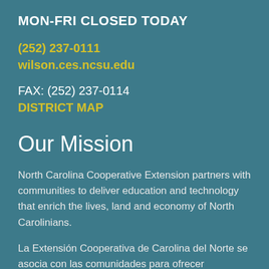MON-FRI CLOSED TODAY
(252) 237-0111
wilson.ces.ncsu.edu
FAX: (252) 237-0114
DISTRICT MAP
Our Mission
North Carolina Cooperative Extension partners with communities to deliver education and technology that enrich the lives, land and economy of North Carolinians.
La Extensión Cooperativa de Carolina del Norte se asocia con las comunidades para ofrecer educación y tecnología que enriquecen la vida de los habitantes, la tierra y la economía de Carolina del Norte.